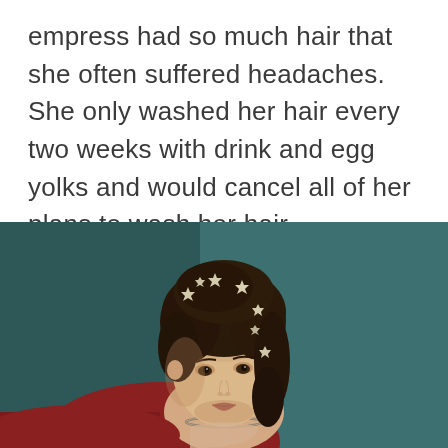empress had so much hair that she often suffered headaches. She only washed her hair every two weeks with drink and egg yolks and would cancel all of her plans to wash her hair.
[Figure (illustration): Classical oil painting portrait of a young woman (Empress Elisabeth of Austria) with elaborately styled dark brown updo hair adorned with star-shaped ornaments/pins. She wears a necklace and a red/pink garment. The background is a muted teal/dark green. She gazes slightly downward and to the left.]